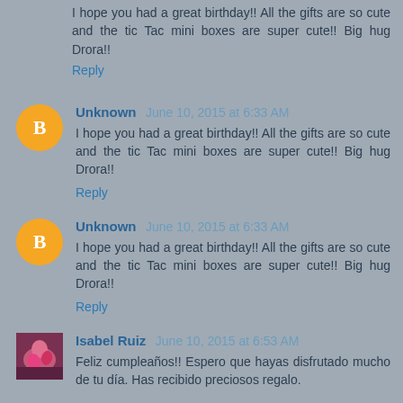I hope you had a great birthday!! All the gifts are so cute and the tic Tac mini boxes are super cute!! Big hug Drora!!
Reply
Unknown June 10, 2015 at 6:33 AM
I hope you had a great birthday!! All the gifts are so cute and the tic Tac mini boxes are super cute!! Big hug Drora!!
Reply
Unknown June 10, 2015 at 6:33 AM
I hope you had a great birthday!! All the gifts are so cute and the tic Tac mini boxes are super cute!! Big hug Drora!!
Reply
Isabel Ruiz June 10, 2015 at 6:53 AM
Feliz cumpleaños!! Espero que hayas disfrutado mucho de tu día. Has recibido preciosos regalo.